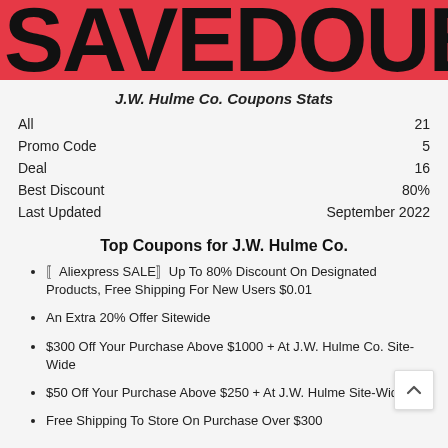SAVEDOUB
J.W. Hulme Co. Coupons Stats
| All | 21 |
| Promo Code | 5 |
| Deal | 16 |
| Best Discount | 80% |
| Last Updated | September 2022 |
Top Coupons for J.W. Hulme Co.
《Aliexpress SALE》Up To 80% Discount On Designated Products, Free Shipping For New Users $0.01
An Extra 20% Offer Sitewide
$300 Off Your Purchase Above $1000 + At J.W. Hulme Co. Site-Wide
$50 Off Your Purchase Above $250 + At J.W. Hulme Site-Wide
Free Shipping To Store On Purchase Over $300